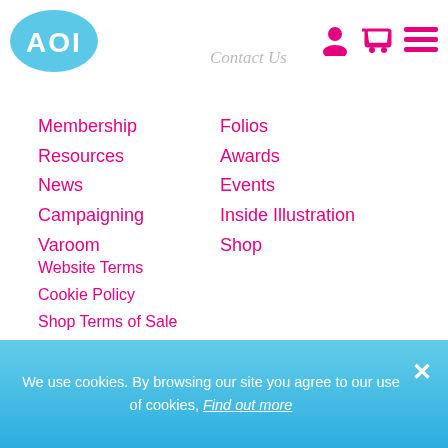[Figure (logo): AOI logo - blue oval with white text AOI]
Contact Us
Membership
Resources
News
Campaigning
Varoom
Folios
Awards
Events
Inside Illustration
Shop
Website Terms
Cookie Policy
Shop Terms of Sale
Privacy Policy
Membership Terms
© Association of Illustrators
We use cookies. By browsing our site you agree to our use of cookies, Find out more